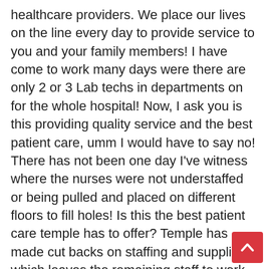healthcare providers. We place our lives on the line every day to provide service to you and your family members! I have come to work many days were there are only 2 or 3 Lab techs in departments on for the whole hospital! Now, I ask you is this providing quality service and the best patient care, umm I would have to say no! There has not been one day I've witness where the nurses were not understaffed or being pulled and placed on different floors to fill holes! Is this the best patient care temple has to offer? Temple has made cut backs on staffing and supplies, which leaves the remaining staff to work longer hours and work harder! Temple Adminstration is the worst they do not respect US for the jobs we do here! Temple wants to keep earning profit off of our backs but don't want to give us the best benefits and wages for our family! I can't believe you people, shame on you! Please get the facts before you talk about us! This was the last choice I enjoy working at Temple but I want to be
[Figure (other): A red square scroll-to-top button with a white upward-pointing chevron arrow, positioned in the bottom-right corner of the page.]